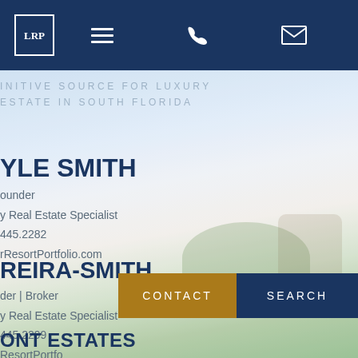LRP logo, navigation menu, phone, email
INITIVE SOURCE FOR LUXURY ESTATE IN SOUTH FLORIDA
YLE SMITH
ounder
y Real Estate Specialist
445.2282
rResortPortfolio.com
REIRA-SMITH
der | Broker
y Real Estate Specialist
445.2299
ResortPortfo
CONTACT
SEARCH
ONT ESTATES